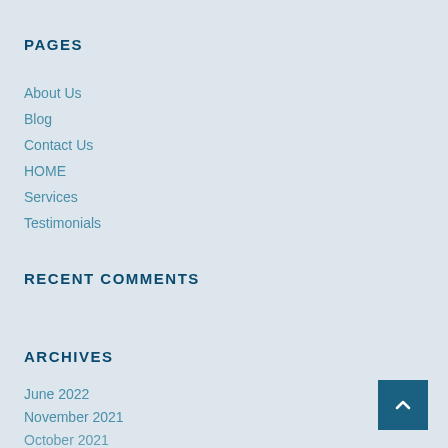PAGES
About Us
Blog
Contact Us
HOME
Services
Testimonials
RECENT COMMENTS
ARCHIVES
June 2022
November 2021
October 2021
May 2020